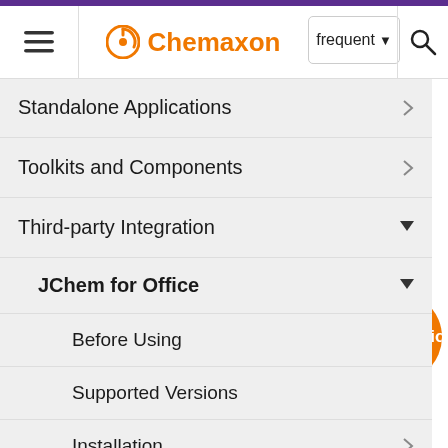Chemaxon | frequent | (search)
Standalone Applications
Toolkits and Components
Third-party Integration
JChem for Office
Before Using
Supported Versions
Installation
Administration
Diagnostic Tool
not listed under JChem but are available by choosing the JCChem function Eu...